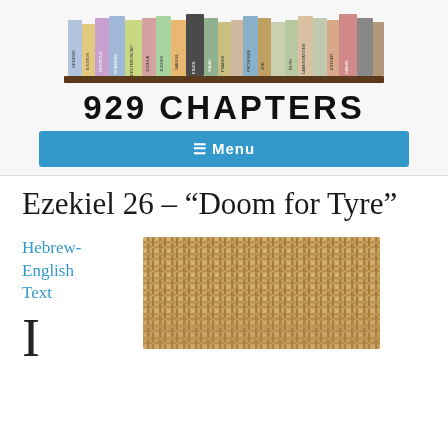[Figure (logo): 929 Chapters website logo: row of colorful book spines on a shelf above large bold text '929 CHAPTERS']
≡ Menu
Ezekiel 26 – “Doom for Tyre”
Hebrew-English Text
[Figure (photo): Close-up photograph of woven fishing net or burlap textile texture in tan/brown tones]